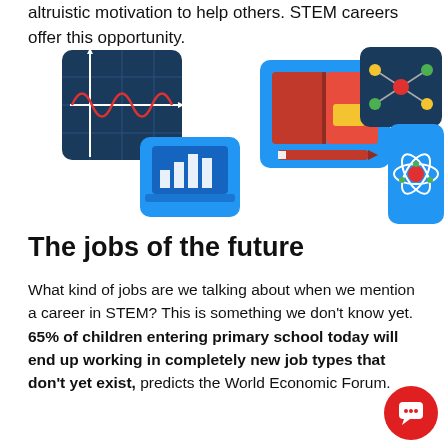altruistic motivation to help others. STEM careers offer this opportunity.
[Figure (illustration): Collection of STEM education icons: a signal/wave graph on dark blue grid background, a laptop with bar charts, an open book with pencil, a molecular network diagram on dark blue background, and an atom diagram on blue background.]
The jobs of the future
What kind of jobs are we talking about when we mention a career in STEM? This is something we don't know yet. 65% of children entering primary school today will end up working in completely new job types that don't yet exist, predicts the World Economic Forum.